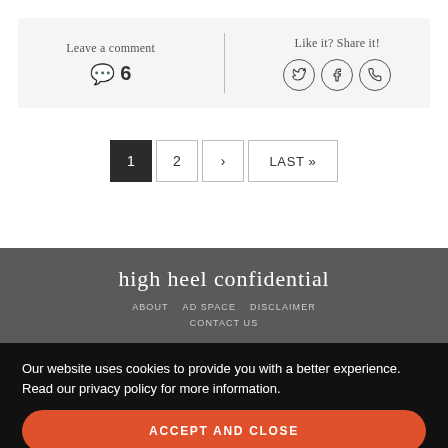Leave a comment | Like it? Share it!
💬 6
1  2  >  LAST »
high heel confidential
ABOUT  AD SPACE  DISCLAIMER
CONTACT US
Our website uses cookies to provide you with a better experience. Read our privacy policy for more information.
ACCEPT AND CLOSE
© 2022 HIGH HEEL CONFIDENTIAL